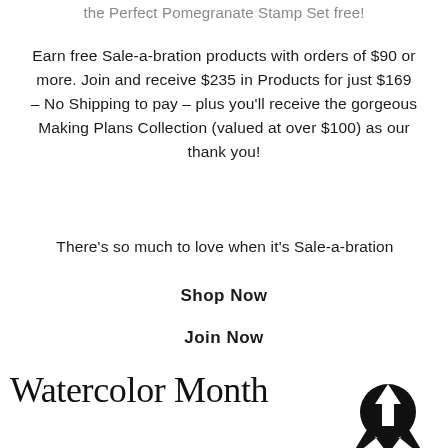the Perfect Pomegranate Stamp Set free!
Earn free Sale-a-bration products with orders of $90 or more. Join and receive $235 in Products for just $169 – No Shipping to pay – plus you'll receive the gorgeous Making Plans Collection (valued at over $100) as our thank you!
There's so much to love when it's Sale-a-bration
Shop Now
Join Now
Watercolor Month
[Figure (logo): A circular logo with a rocket or arrow-shaped symbol pointing upward, with stylized wing-like elements at the bottom, in black.]